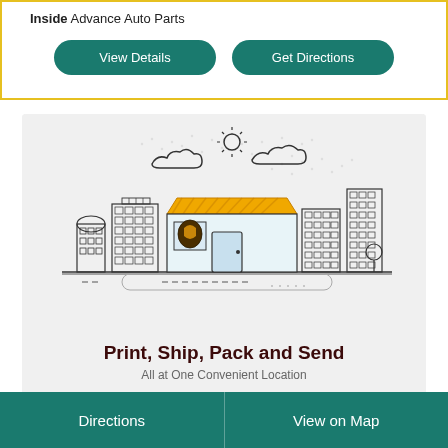Inside Advance Auto Parts
View Details
Get Directions
[Figure (illustration): UPS store front illustration with city buildings in the background, sun and clouds, line art style on a light gray background]
Print, Ship, Pack and Send
All at One Convenient Location
Directions
View on Map